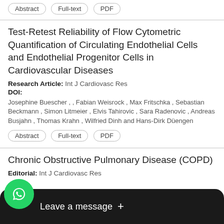Abstract | Full-text | PDF
Test-Retest Reliability of Flow Cytometric Quantification of Circulating Endothelial Cells and Endothelial Progenitor Cells in Cardiovascular Diseases
Research Article: Int J Cardiovasc Res
DOI:
Josephine Buescher , , Fabian Weisrock , Max Fritschka , Sebastian Beckmann , Simon Litmeier , Elvis Tahirovic , Sara Radenovic , Andreas Busjahn , Thomas Krahn , Wilfried Dinh and Hans-Dirk Düengen
Abstract | Full-text | PDF
Chronic Obstructive Pulmonary Disease (COPD)
Editorial: Int J Cardiovasc Res
Leave a message +